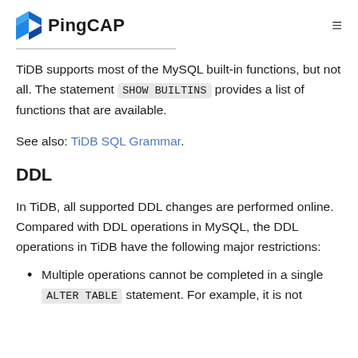PingCAP
TiDB supports most of the MySQL built-in functions, but not all. The statement SHOW BUILTINS provides a list of functions that are available.
See also: TiDB SQL Grammar.
DDL
In TiDB, all supported DDL changes are performed online. Compared with DDL operations in MySQL, the DDL operations in TiDB have the following major restrictions:
Multiple operations cannot be completed in a single ALTER TABLE statement. For example, it is not